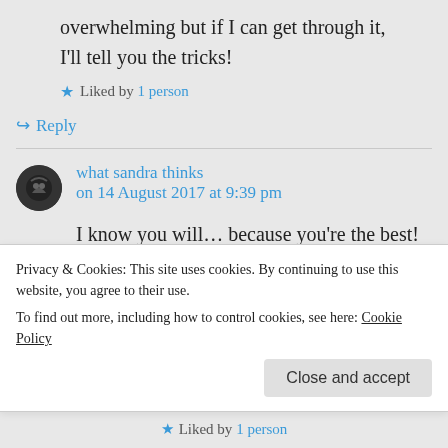overwhelming but if I can get through it, I'll tell you the tricks!
★ Liked by 1 person
↪ Reply
what sandra thinks on 14 August 2017 at 9:39 pm
I know you will… because you're the best! 🙂 And I'm
Privacy & Cookies: This site uses cookies. By continuing to use this website, you agree to their use.
To find out more, including how to control cookies, see here: Cookie Policy
Close and accept
★ Liked by 1 person